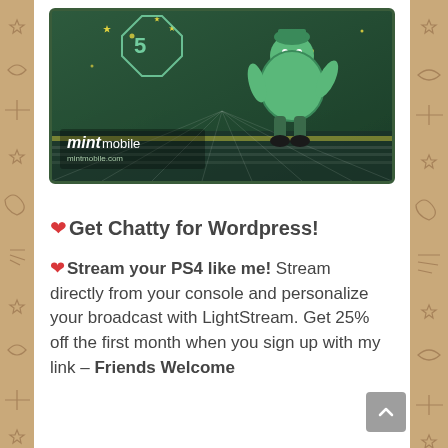[Figure (illustration): Mint Mobile advertisement banner with green background, a cartoon character, and the Mint Mobile logo and mintmobile.com URL]
❤Get Chatty for Wordpress!
❤Stream your PS4 like me! Stream directly from your console and personalize your broadcast with LightStream. Get 25% off the first month when you sign up with my link – Friends Welcome